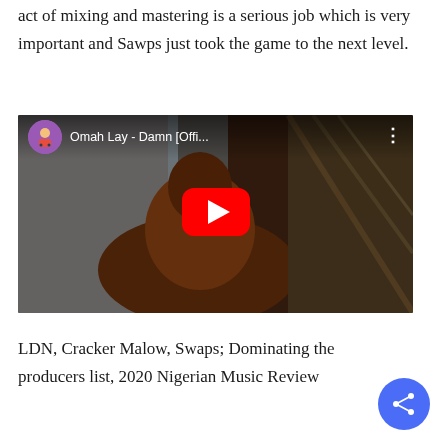act of mixing and mastering is a serious job which is very important and Sawps just took the game to the next level.
[Figure (screenshot): YouTube video embed showing 'Omah Lay - Damn [Offi...' with a red play button in the center, a purple avatar icon with an animated character top-left, and video title text. The video thumbnail shows a person seated.]
LDN, Cracker Malow, Swaps; Dominating the producers list, 2020 Nigerian Music Review